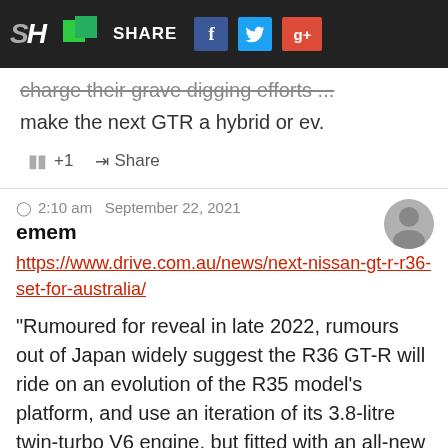SH | SHARE | f | Twitter | G+
charge their grave digging efforts ... make the next GTR a hybrid or ev.
+1  Share
2:10 am  September 22, 2021
emem
https://www.drive.com.au/news/next-nissan-gt-r-r36-set-for-australia/
"Rumoured for reveal in late 2022, rumours out of Japan widely suggest the R36 GT-R will ride on an evolution of the R35 model's platform, and use an iteration of its 3.8-litre twin-turbo V6 engine, but fitted with an all-new body and interior."